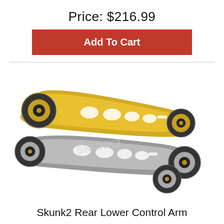Price: $216.99
Add To Cart
[Figure (photo): Two Skunk2 rear lower control arms — one gold anodized aluminum and one silver anodized aluminum, each with rubber bushings at both ends and lightening holes along the length.]
Skunk2 Rear Lower Control Arm